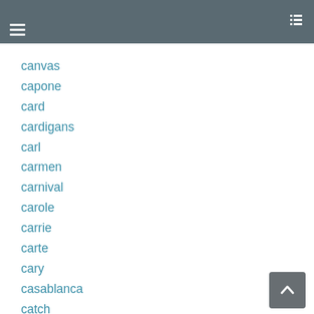Navigation header with hamburger menu and list icon
canon
canvas
capone
card
cardigans
carl
carmen
carnival
carole
carrie
carte
cary
casablanca
catch
cecil
celebrity
ceske
change
charles
charlie
chauncey
chet